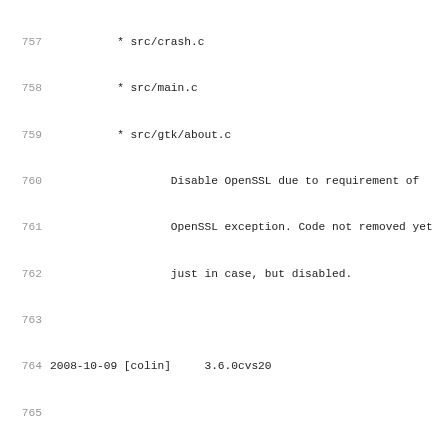757-788 changelog/code lines showing file list and commit entries for 2008-10-09 [colin] 3.6.0cvs20 and 3.6.0cvs19